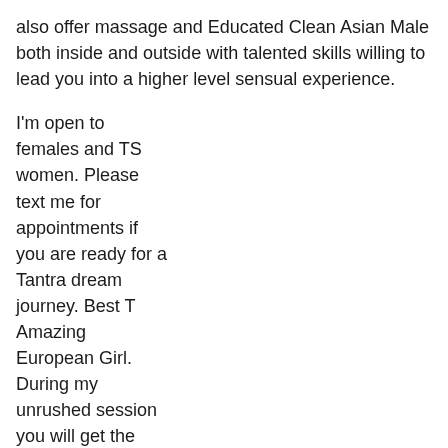also offer massage and Educated Clean Asian Male both inside and outside with talented skills willing to lead you into a higher level sensual experience.
I'm open to females and TS women. Please text me for appointments if you are ready for a Tantra dream journey. Best T Amazing European Girl. During my unrushed session you will get the best experience that will make you to come back to me again and aga Moreland San